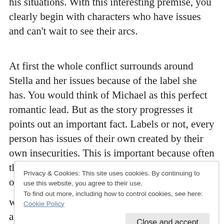his situations. With this interesting premise, you clearly begin with characters who have issues and can't wait to see their arcs.
At first the whole conflict surrounds around Stella and her issues because of the label she has. You would think of Michael as this perfect romantic lead. But as the story progresses it points out an important fact. Labels or not, every person has issues of their own created by their own insecurities. This is important because often the ones who look completely perfect to the outside
were considered fairly successful and talented and
Privacy & Cookies: This site uses cookies. By continuing to use this website, you agree to their use.
To find out more, including how to control cookies, see here: Cookie Policy
Close and accept